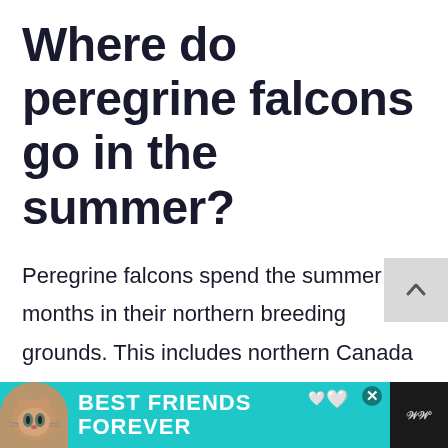Where do peregrine falcons go in the summer?
Peregrine falcons spend the summer months in their northern breeding grounds. This includes northern Canada and Alaska, as well as the northern and central parts of the contiguous United States.
[Figure (infographic): Advertisement banner at the bottom showing a cat with text 'BEST FRIENDS FOREVER' on a teal background, with a close button and additional dark panel on the right.]